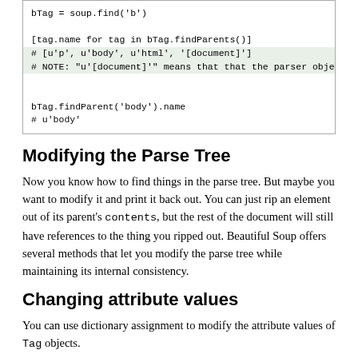[Figure (screenshot): Code block showing bTag.findParents() and bTag.findParent('body').name examples with comments]
Modifying the Parse Tree
Now you know how to find things in the parse tree. But maybe you want to modify it and print it back out. You can just rip an element out of its parent's contents, but the rest of the document will still have references to the thing you ripped out. Beautiful Soup offers several methods that let you modify the parse tree while maintaining its internal consistency.
Changing attribute values
You can use dictionary assignment to modify the attribute values of Tag objects.
[Figure (screenshot): Code block starting with: from BeautifulSoup import BeautifulSoup]